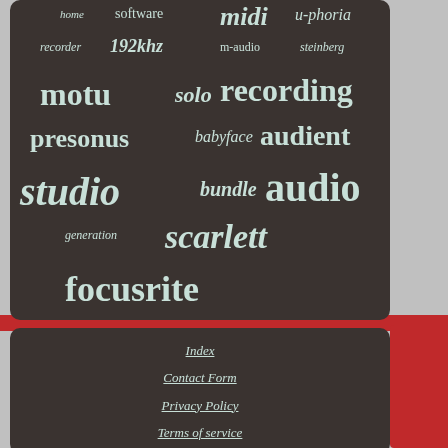[Figure (infographic): Word cloud on dark brown/charcoal rounded rectangle. Words in muted mint/teal color of varying sizes: home, software, midi, u-phoria, recorder, 192khz, m-audio, steinberg, motu, solo, recording, presonus, babyface, audient, studio, bundle, audio, generation, scarlett, focusrite]
Index
Contact Form
Privacy Policy
Terms of service